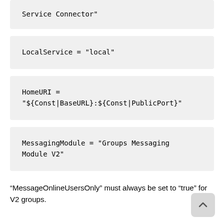Service Connector"
LocalService = "local"
HomeURI = "${Const|BaseURL}:${Const|PublicPort}"
MessagingModule = "Groups Messaging Module V2"
“MessageOnlineUsersOnly” must always be set to “true” for V2 groups.